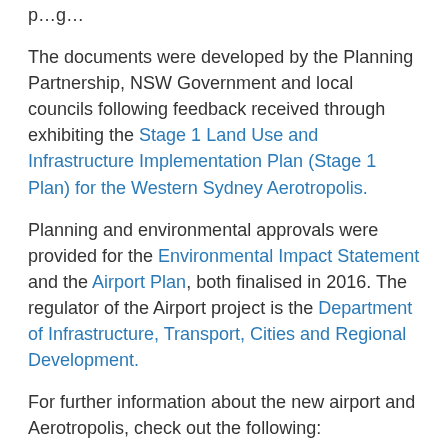p…g…
The documents were developed by the Planning Partnership, NSW Government and local councils following feedback received through exhibiting the Stage 1 Land Use and Infrastructure Implementation Plan (Stage 1 Plan) for the Western Sydney Aerotropolis.
Planning and environmental approvals were provided for the Environmental Impact Statement and the Airport Plan, both finalised in 2016. The regulator of the Airport project is the Department of Infrastructure, Transport, Cities and Regional Development.
For further information about the new airport and Aerotropolis, check out the following:
WCAA's planning resources: